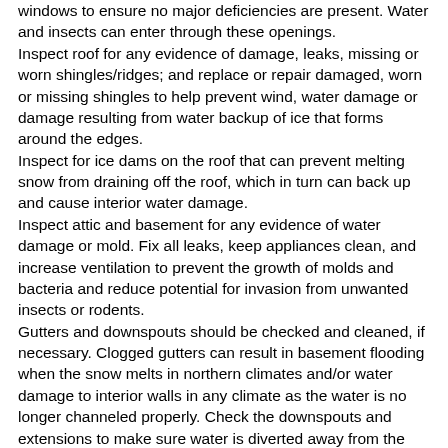windows to ensure no major deficiencies are present. Water and insects can enter through these openings.
Inspect roof for any evidence of damage, leaks, missing or worn shingles/ridges; and replace or repair damaged, worn or missing shingles to help prevent wind, water damage or damage resulting from water backup of ice that forms around the edges.
Inspect for ice dams on the roof that can prevent melting snow from draining off the roof, which in turn can back up and cause interior water damage.
Inspect attic and basement for any evidence of water damage or mold. Fix all leaks, keep appliances clean, and increase ventilation to prevent the growth of molds and bacteria and reduce potential for invasion from unwanted insects or rodents.
Gutters and downspouts should be checked and cleaned, if necessary. Clogged gutters can result in basement flooding when the snow melts in northern climates and/or water damage to interior walls in any climate as the water is no longer channeled properly. Check the downspouts and extensions to make sure water is diverted away from the house and does not pond next to the foundation.
Vandalism
Notify the police department that the property will be